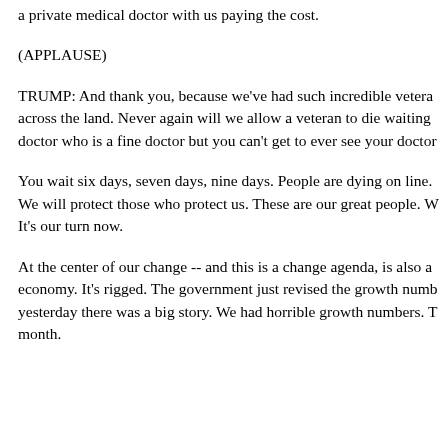a private medical doctor with us paying the cost.
(APPLAUSE)
TRUMP: And thank you, because we've had such incredible vetera across the land. Never again will we allow a veteran to die waiting doctor who is a fine doctor but you can't get to ever see your doctor
You wait six days, seven days, nine days. People are dying on line. We will protect those who protect us. These are our great people. W It's our turn now.
At the center of our change -- and this is a change agenda, is also a economy. It's rigged. The government just revised the growth numb yesterday there was a big story. We had horrible growth numbers. T month.